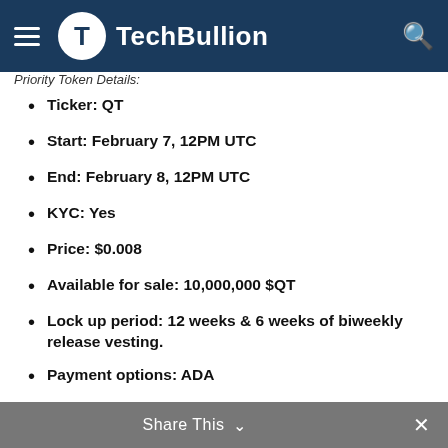TechBullion
Priority Token Details:
Ticker: QT
Start: February 7, 12PM UTC
End: February 8, 12PM UTC
KYC: Yes
Price: $0.008
Available for sale: 10,000,000 $QT
Lock up period: 12 weeks & 6 weeks of biweekly release vesting.
Payment options: ADA
Requirements to participate: 10000 KICK staked in a locked pool
Share This